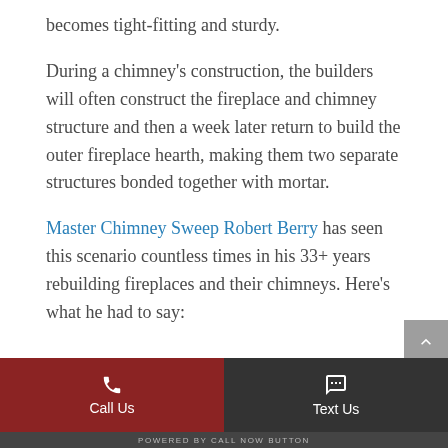becomes tight-fitting and sturdy.
During a chimney's construction, the builders will often construct the fireplace and chimney structure and then a week later return to build the outer fireplace hearth, making them two separate structures bonded together with mortar.
Master Chimney Sweep Robert Berry has seen this scenario countless times in his 33+ years rebuilding fireplaces and their chimneys. Here's what he had to say:
Call Us | Text Us | POWERED BY CALL NOW BUTTON